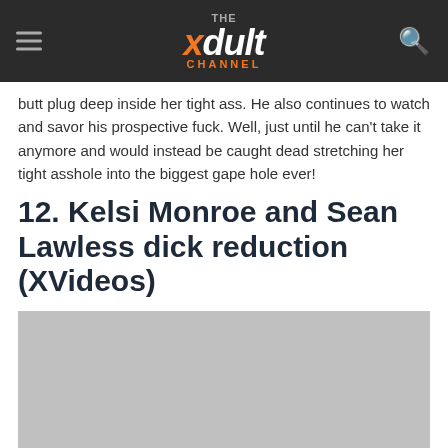THE xdult CHANNEL
butt plug deep inside her tight ass. He also continues to watch and savor his prospective fuck. Well, just until he can't take it anymore and would instead be caught dead stretching her tight asshole into the biggest gape hole ever!
12. Kelsi Monroe and Sean Lawless dick reduction (XVideos)
[Figure (photo): Gray placeholder image block for embedded video or photo content]